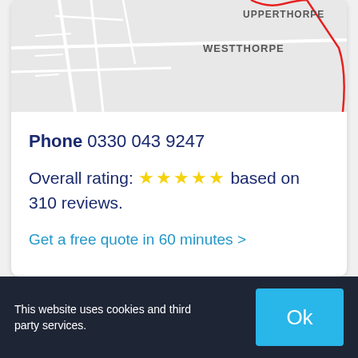[Figure (map): A street map showing WESTTHORPE and partial UPPERTHORPE area with roads and a red boundary line]
Phone 0330 043 9247
Overall rating: ★★★★★ based on 310 reviews.
Get a free quote in 60 minutes >
This website uses cookies and third party services.